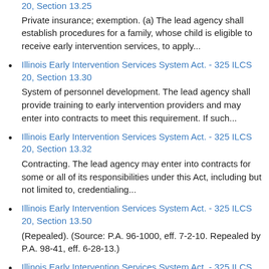Illinois Early Intervention Services System Act. - 325 ILCS 20, Section 13.25
Private insurance; exemption. (a) The lead agency shall establish procedures for a family, whose child is eligible to receive early intervention services, to apply...
Illinois Early Intervention Services System Act. - 325 ILCS 20, Section 13.30
System of personnel development. The lead agency shall provide training to early intervention providers and may enter into contracts to meet this requirement. If such...
Illinois Early Intervention Services System Act. - 325 ILCS 20, Section 13.32
Contracting. The lead agency may enter into contracts for some or all of its responsibilities under this Act, including but not limited to, credentialing...
Illinois Early Intervention Services System Act. - 325 ILCS 20, Section 13.50
(Repealed). (Source: P.A. 96-1000, eff. 7-2-10. Repealed by P.A. 98-41, eff. 6-28-13.)
Illinois Early Intervention Services System Act. - 325 ILCS 20, Section 14